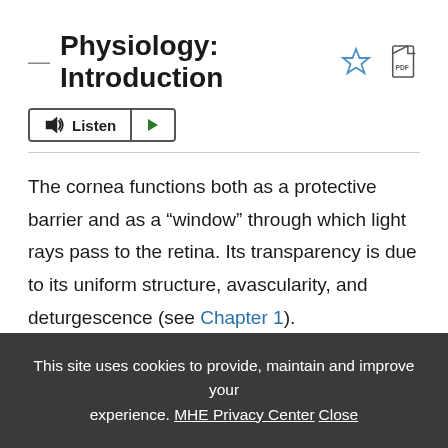Physiology: Introduction
[Figure (screenshot): Listen button with speaker icon and a green play button]
The cornea functions both as a protective barrier and as a “window” through which light rays pass to the retina. Its transparency is due to its uniform structure, avascularity, and deturgescence (see Chapter 1). Deturgescence, or the state of relative dehydration of
This site uses cookies to provide, maintain and improve your experience. MHE Privacy Center  Close